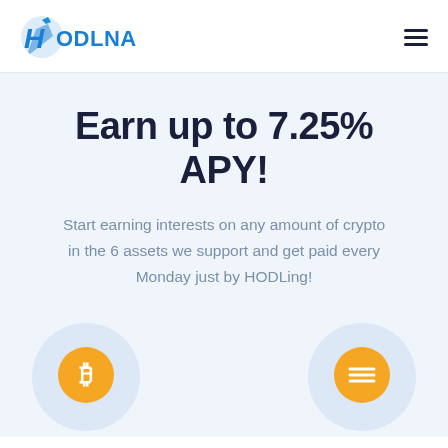[Figure (logo): Hodlnaut logo with rocket icon and blue H letter, brand name HODLNAUT in blue]
Earn up to 7.25% APY!
Start earning interests on any amount of crypto in the 6 assets we support and get paid every Monday just by HODLing!
[Figure (illustration): Two cryptocurrency coin icons: Bitcoin (BTC) orange coin with B symbol and USDC/DAI orange coin with dollar sign, each on a circular light blue background]